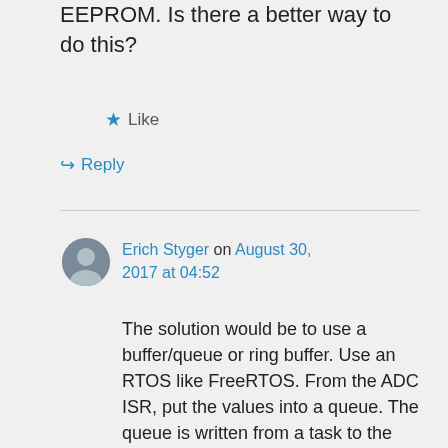EEPROM. Is there a better way to do this?
★ Like
↪ Reply
Erich Styger on August 30, 2017 at 04:52
The solution would be to use a buffer/queue or ring buffer. Use an RTOS like FreeRTOS. From the ADC ISR, put the values into a queue. The queue is written from a task to the EEPROM.